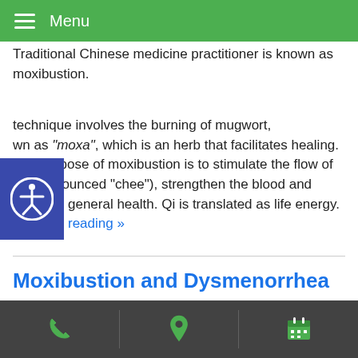Menu
Traditional Chinese medicine practitioner is known as moxibustion.
technique involves the burning of mugwort, known as “moxa”, which is an herb that facilitates healing. The purpose of moxibustion is to stimulate the flow of Qi (pronounced “chee”), strengthen the blood and maintain general health. Qi is translated as life energy. continue reading »
Moxibustion and Dysmenorrhea
A study conducted by Chengdu University of Traditional